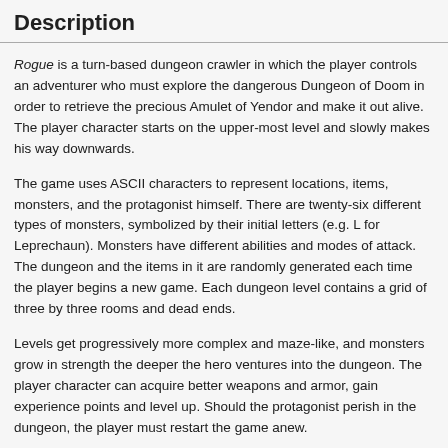Description
Rogue is a turn-based dungeon crawler in which the player controls an adventurer who must explore the dangerous Dungeon of Doom in order to retrieve the precious Amulet of Yendor and make it out alive. The player character starts on the upper-most level and slowly makes his way downwards.
The game uses ASCII characters to represent locations, items, monsters, and the protagonist himself. There are twenty-six different types of monsters, symbolized by their initial letters (e.g. L for Leprechaun). Monsters have different abilities and modes of attack. The dungeon and the items in it are randomly generated each time the player begins a new game. Each dungeon level contains a grid of three by three rooms and dead ends.
Levels get progressively more complex and maze-like, and monsters grow in strength the deeper the hero ventures into the dungeon. The player character can acquire better weapons and armor, gain experience points and level up. Should the protagonist perish in the dungeon, the player must restart the game anew.
[edit description | view history]
Screenshots
There are no Windows user screenshots for this game.